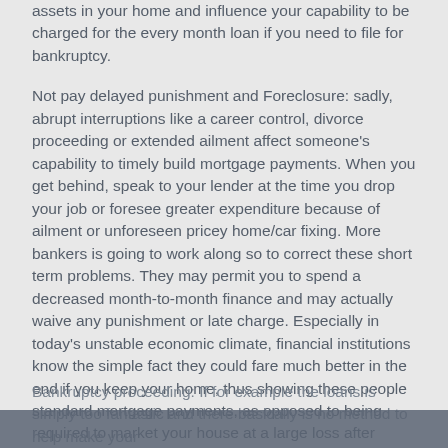assets in your home and influence your capability to be charged for the every month loan if you need to file for bankruptcy.
Not pay delayed punishment and Foreclosure: sadly, abrupt interruptions like a career control, divorce proceeding or extended ailment affect someone's capability to timely build mortgage payments. When you get behind, speak to your lender at the time you drop your job or foresee greater expenditure because of ailment or unforeseen pricey home/car fixing. More bankers is going to work along so to correct these short term problems. They may permit you to spend a decreased month-to-month finance and may actually waive any punishment or late charge. Especially in today's unstable economic climate, financial institutions know the simple fact they could fare much better in the end if you keep your home, thus showing these people standard mortgage payments, as opposed to being required to market your house at a large loss after foreclosures. Perhaps you are required to build proof a prolonged sickness or task control, and/or provide a number of your own possessions, but this might just staying beneficial to save your own home and perhaps avoid the next bankruptcy processing.
Bankruptcy proceeding: If for example the loans is simply too fantastic and there basically is no method to help make your